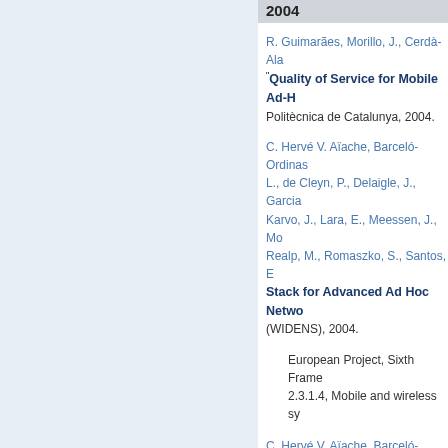2004
R. Guimarães, Morillo, J., Cerdà-Ala...
"Quality of Service for Mobile Ad-H...
Politècnica de Catalunya, 2004.
C. Hervé V. Aïache, Barceló-Ordinas... L., de Cleyn, P., Delaigle, J., Garcia... Karvo, J., Lara, E., Meessen, J., Mo... Realp, M., Romaszko, S., Santos, E...
Stack for Advanced Ad Hoc Netwe... (WIDENS), 2004.
European Project, Sixth Frame...
2.3.1.4, Mobile and wireless sy...
C. Hervé V. Aïache, Barceló-Ordinas... L., de Cleyn, P., Delaigle, J., Garcia... Karvo, J., Lara, E., Meessen, J., Mo... Realp, M., Romaszko, S., Santos, E...
Low Layer Interface - IP/MAC Map... (WIDENS), 2004.
European Project, Sixth Frame...